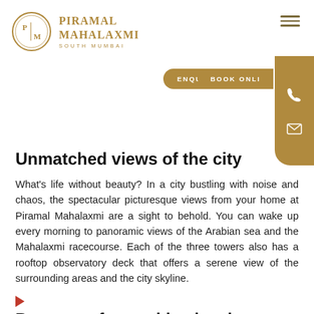[Figure (logo): Piramal Mahalaxmi logo — circular emblem with PM letters and brand name PIRAMAL MAHALAXMI, SOUTH MUMBAI]
Unmatched views of the city
What’s life without beauty? In a city bustling with noise and chaos, the spectacular picturesque views from your home at Piramal Mahalaxmi are a sight to behold. You can wake up every morning to panoramic views of the Arabian sea and the Mahalaxmi racecourse. Each of the three towers also has a rooftop observatory deck that offers a serene view of the surrounding areas and the city skyline.
Be a part of something iconic